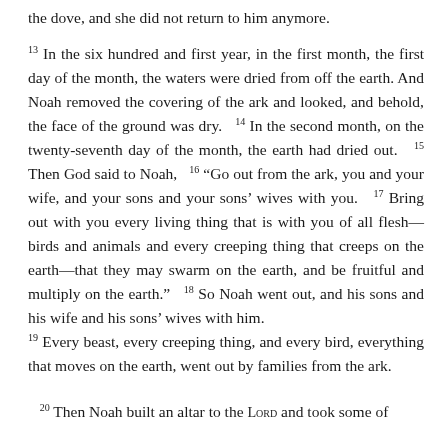the dove, and she did not return to him anymore.
13 In the six hundred and first year, in the first month, the first day of the month, the waters were dried from off the earth. And Noah removed the covering of the ark and looked, and behold, the face of the ground was dry. 14 In the second month, on the twenty-seventh day of the month, the earth had dried out. 15 Then God said to Noah, 16 “Go out from the ark, you and your wife, and your sons and your sons’ wives with you. 17 Bring out with you every living thing that is with you of all flesh—birds and animals and every creeping thing that creeps on the earth—that they may swarm on the earth, and be fruitful and multiply on the earth.” 18 So Noah went out, and his sons and his wife and his sons’ wives with him. 19 Every beast, every creeping thing, and every bird, everything that moves on the earth, went out by families from the ark.
20 Then Noah built an altar to the LORD and took some of